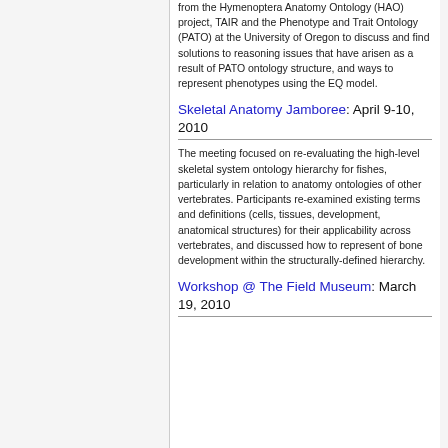from the Hymenoptera Anatomy Ontology (HAO) project, TAIR and the Phenotype and Trait Ontology (PATO) at the University of Oregon to discuss and find solutions to reasoning issues that have arisen as a result of PATO ontology structure, and ways to represent phenotypes using the EQ model.
Skeletal Anatomy Jamboree: April 9-10, 2010
The meeting focused on re-evaluating the high-level skeletal system ontology hierarchy for fishes, particularly in relation to anatomy ontologies of other vertebrates. Participants re-examined existing terms and definitions (cells, tissues, development, anatomical structures) for their applicability across vertebrates, and discussed how to represent of bone development within the structurally-defined hierarchy.
Workshop @ The Field Museum: March 19, 2010